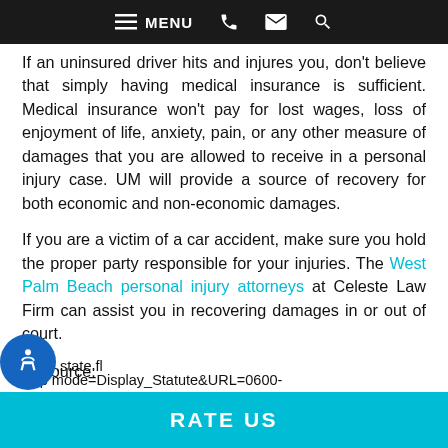MENU
If an uninsured driver hits and injures you, don't believe that simply having medical insurance is sufficient. Medical insurance won't pay for lost wages, loss of enjoyment of life, anxiety, pain, or any other measure of damages that you are allowed to receive in a personal injury case. UM will provide a source of recovery for both economic and non-economic damages.
If you are a victim of a car accident, make sure you hold the proper party responsible for your injuries. The West Palm Beach personal injury attorneys at Celeste Law Firm can assist you in recovering damages in or out of court.
Resource:
.state.fl
App mode=Display_Statute&URL=0600-
RATE US